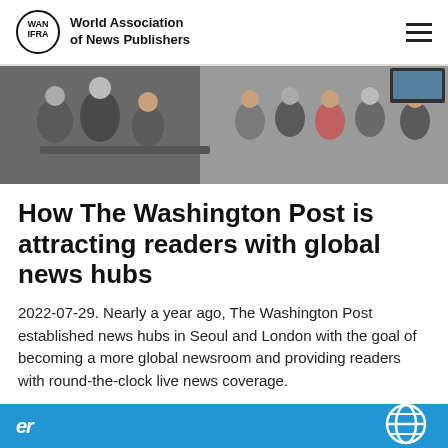World Association of News Publishers
[Figure (photo): Group of people in a newsroom setting, seated and standing, looking toward someone speaking. Modern open-plan office environment.]
How The Washington Post is attracting readers with global news hubs
2022-07-29. Nearly a year ago, The Washington Post established news hubs in Seoul and London with the goal of becoming a more global newsroom and providing readers with round-the-clock live news coverage.
[Figure (logo): WAN-IFRA blue footer banner with globe icon and partial text]